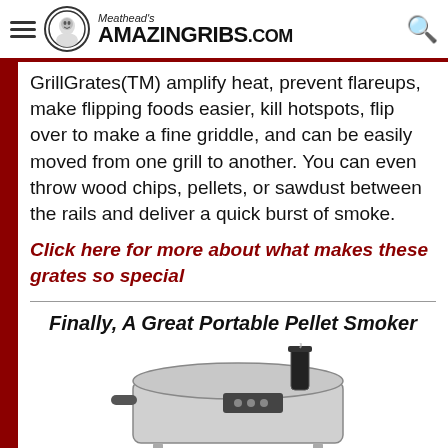Meathead's AmazingRibs.com
GrillGrates(TM) amplify heat, prevent flareups, make flipping foods easier, kill hotspots, flip over to make a fine griddle, and can be easily moved from one grill to another. You can even throw wood chips, pellets, or sawdust between the rails and deliver a quick burst of smoke.
Click here for more about what makes these grates so special
Finally, A Great Portable Pellet Smoker
[Figure (photo): A portable pellet smoker grill, silver/metallic body with black chimney, shown at an angle. Below is a faded reflection of the same image.]